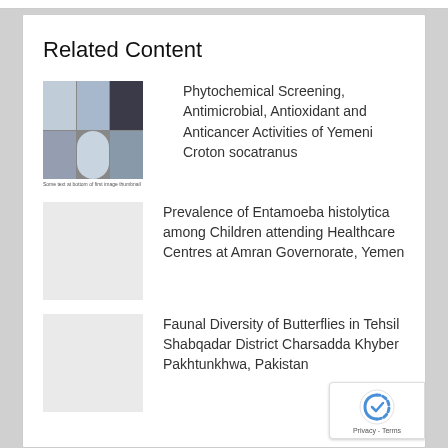Related Content
[Figure (photo): Microscopy image grid showing Croton socatranus plant material under different magnifications]
Phytochemical Screening, Antimicrobial, Antioxidant and Anticancer Activities of Yemeni Croton socatranus
[Figure (photo): Placeholder thumbnail image (light gray)]
Prevalence of Entamoeba histolytica among Children attending Healthcare Centres at Amran Governorate, Yemen
[Figure (photo): Placeholder thumbnail image (light gray)]
Faunal Diversity of Butterflies in Tehsil Shabqadar District Charsadda Khyber Pakhtunkhwa, Pakistan